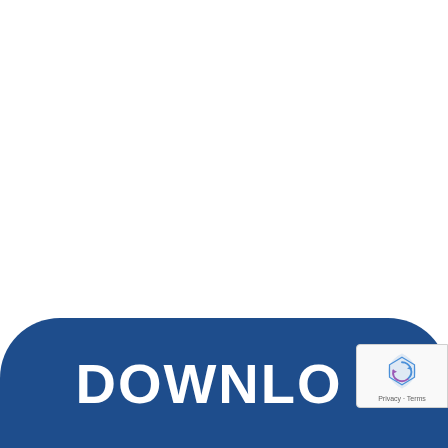Adobe Garam
ADOBE GARAMOND PRO BO
[Figure (other): Dark blue rounded download button banner with white bold text reading DOWNLOAD, partially cut off on right; overlapping reCAPTCHA badge in bottom right corner showing reCAPTCHA logo and Privacy - Terms text]